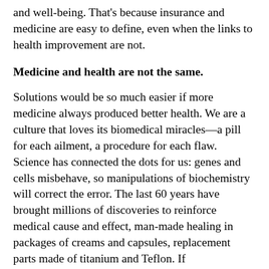and well-being. That's because insurance and medicine are easy to define, even when the links to health improvement are not.
Medicine and health are not the same.
Solutions would be so much easier if more medicine always produced better health. We are a culture that loves its biomedical miracles—a pill for each ailment, a procedure for each flaw. Science has connected the dots for us: genes and cells misbehave, so manipulations of biochemistry will correct the error. The last 60 years have brought millions of discoveries to reinforce medical cause and effect, man-made healing in packages of creams and capsules, replacement parts made of titanium and Teflon. If